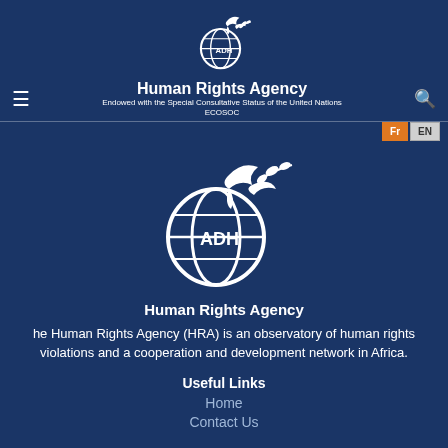[Figure (logo): ADH Human Rights Agency logo - white globe with dove and olive branch, small version at top]
Human Rights Agency
Endowed with the Special Consultative Status of the United Nations ECOSOC
[Figure (logo): ADH Human Rights Agency logo - white globe with dove and olive branch, large version]
Human Rights Agency
he Human Rights Agency (HRA) is an observatory of human rights violations and a cooperation and development network in Africa.
Useful Links
Home
Contact Us